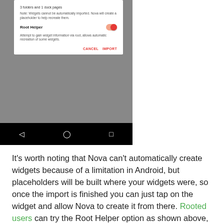[Figure (screenshot): Android smartphone screenshot showing a dialog box with 'Root Helper' toggle switch turned on (red), note about widgets not being automatically imported, description of Root Helper feature, and CANCEL/IMPORT buttons at bottom. Phone has navigation bar with back, home, and recents buttons.]
It's worth noting that Nova can't automatically create widgets because of a limitation in Android, but placeholders will be built where your widgets were, so once the import is finished you can just tap on the widget and allow Nova to create it from there. Rooted users can try the Root Helper option as shown above, which will attempt to read widget information from the other launcher and build it from there, but it doesn't